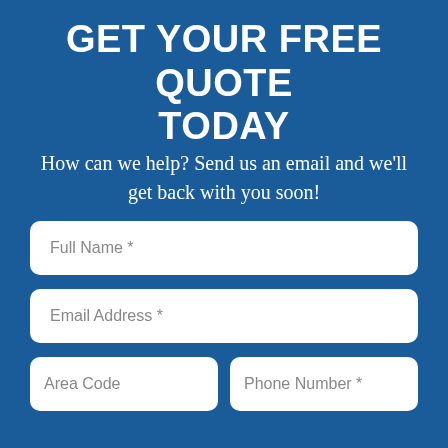GET YOUR FREE QUOTE TODAY
How can we help? Send us an email and we'll get back with you soon!
Full Name *
Email Address *
Area Code
Phone Number *